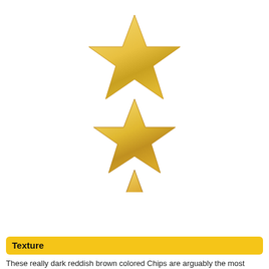[Figure (illustration): Three gold/yellow gradient stars arranged vertically in the center of the page, decreasing in size from top to bottom.]
Texture
These really dark reddish brown colored Chips are arguably the most